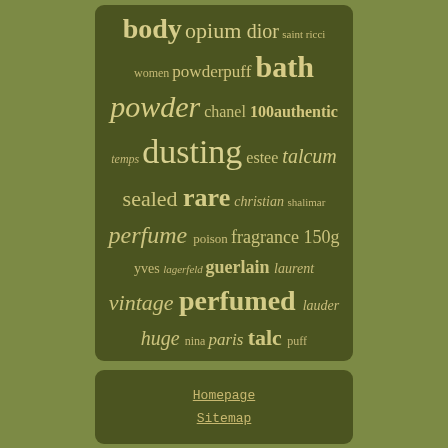[Figure (infographic): Tag cloud / word cloud on a dark olive-green background with berry-textured side borders. Words represent perfume-related keywords in varying sizes indicating frequency/importance: body, opium, dior, saint, ricci, women, powderpuff, bath, powder, chanel, 100authentic, temps, dusting, estee, talcum, sealed, rare, christian, shalimar, perfume, poison, fragrance, 150g, yves, lagerfeld, guerlain, laurent, vintage, perfumed, lauder, huge, nina, paris, talc, puff]
Homepage
Sitemap